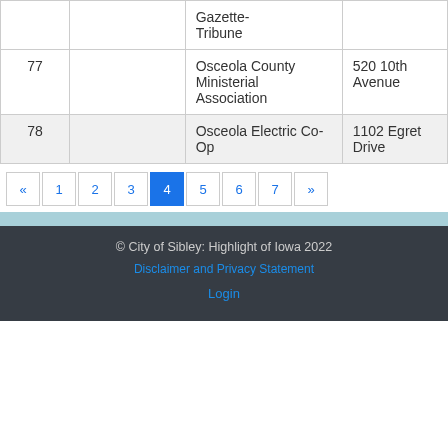| # |  | Name | Address |
| --- | --- | --- | --- |
|  |  | Gazette-Tribune |  |
| 77 |  | Osceola County Ministerial Association | 520 10th Avenue |
| 78 |  | Osceola Electric Co-Op | 1102 Egret Drive |
« 1 2 3 4 5 6 7 »
© City of Sibley: Highlight of Iowa 2022
Disclaimer and Privacy Statement
Login